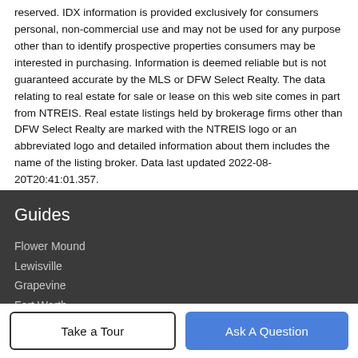reserved. IDX information is provided exclusively for consumers personal, non-commercial use and may not be used for any purpose other than to identify prospective properties consumers may be interested in purchasing. Information is deemed reliable but is not guaranteed accurate by the MLS or DFW Select Realty. The data relating to real estate for sale or lease on this web site comes in part from NTREIS. Real estate listings held by brokerage firms other than DFW Select Realty are marked with the NTREIS logo or an abbreviated logo and detailed information about them includes the name of the listing broker. Data last updated 2022-08-20T20:41:01.357.
Guides
Flower Mound
Lewisville
Grapevine
Fort Worth